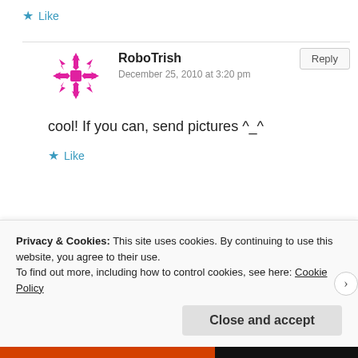★ Like
RoboTrish
December 25, 2010 at 3:20 pm

cool! If you can, send pictures ^_^

★ Like
Johanna
December 26, 2010 at 11:04 pm
Privacy & Cookies: This site uses cookies. By continuing to use this website, you agree to their use.
To find out more, including how to control cookies, see here: Cookie Policy
Close and accept